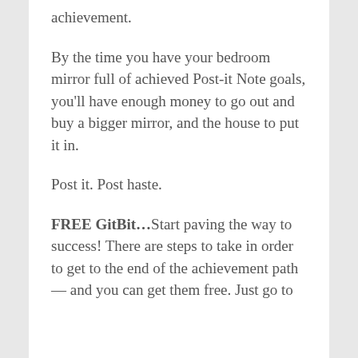achievement.
By the time you have your bedroom mirror full of achieved Post-it Note goals, you'll have enough money to go out and buy a bigger mirror, and the house to put it in.
Post it. Post haste.
FREE GitBit...Start paving the way to success! There are steps to take in order to get to the end of the achievement path — and you can get them free. Just go to